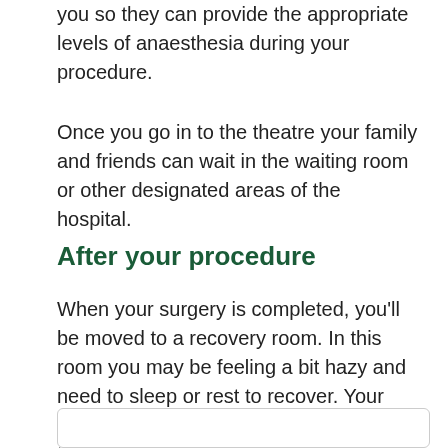you so they can provide the appropriate levels of anaesthesia during your procedure.
Once you go in to the theatre your family and friends can wait in the waiting room or other designated areas of the hospital.
After your procedure
When your surgery is completed, you'll be moved to a recovery room. In this room you may be feeling a bit hazy and need to sleep or rest to recover. Your doctors or nurses will inform you how the operation went and what your after-care includes. Once you're ready to leave the recovery room you'll be moved into a ward. Usually your family and friends will be able to come visit you in your ward once you're ready.